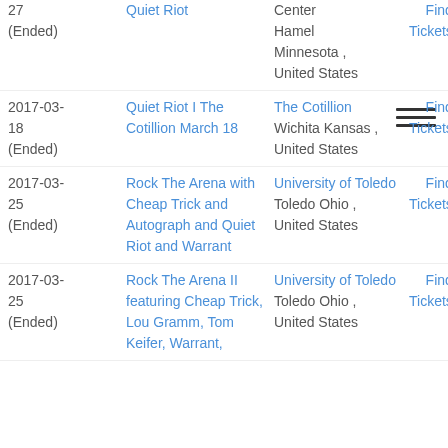27 (Ended) | Quiet Riot | Center Hamel Minnesota , United States | Find Tickets
2017-03-18 (Ended) | Quiet Riot I The Cotillion March 18 | The Cotillion Wichita Kansas , United States | Find Tickets
2017-03-25 (Ended) | Rock The Arena with Cheap Trick and Autograph and Quiet Riot and Warrant | University of Toledo Toledo Ohio , United States | Find Tickets
2017-03-25 (Ended) | Rock The Arena II featuring Cheap Trick, Lou Gramm, Tom Keifer, Warrant, | University of Toledo Toledo Ohio , United States | Find Tickets